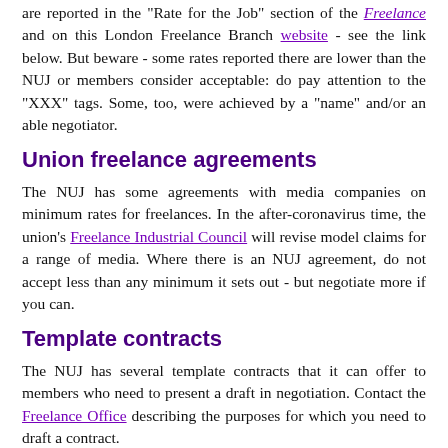are reported in the "Rate for the Job" section of the Freelance and on this London Freelance Branch website - see the link below. But beware - some rates reported there are lower than the NUJ or members consider acceptable: do pay attention to the "XXX" tags. Some, too, were achieved by a "name" and/or an able negotiator.
Union freelance agreements
The NUJ has some agreements with media companies on minimum rates for freelances. In the after-coronavirus time, the union's Freelance Industrial Council will revise model claims for a range of media. Where there is an NUJ agreement, do not accept less than any minimum it sets out - but negotiate more if you can.
Template contracts
The NUJ has several template contracts that it can offer to members who need to present a draft in negotiation. Contact the Freelance Office describing the purposes for which you need to draft a contract.